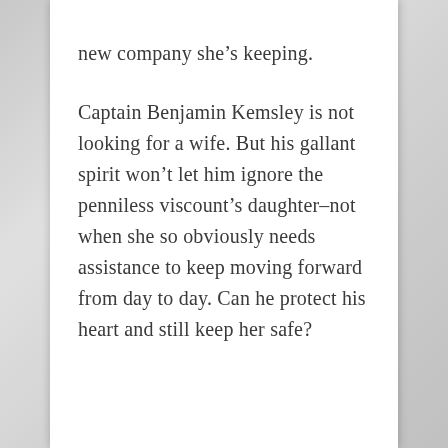new company she's keeping.

Captain Benjamin Kemsley is not looking for a wife. But his gallant spirit won't let him ignore the penniless viscount's daughter–not when she so obviously needs assistance to keep moving forward from day to day. Can he protect his heart and still keep her safe?